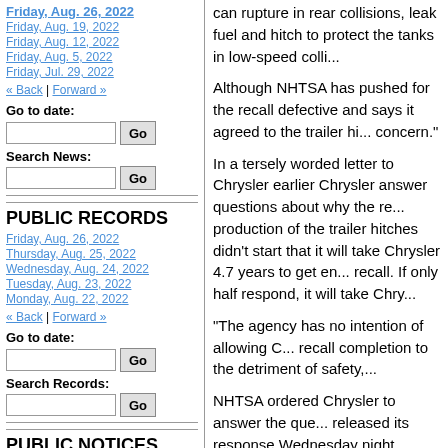Friday, Aug. 26, 2022
Friday, Aug. 19, 2022
Friday, Aug. 12, 2022
Friday, Aug. 5, 2022
Friday, Jul. 29, 2022
« Back | Forward »
Go to date:
Search News:
PUBLIC RECORDS
Friday, Aug. 26, 2022
Thursday, Aug. 25, 2022
Wednesday, Aug. 24, 2022
Tuesday, Aug. 23, 2022
Monday, Aug. 22, 2022
« Back | Forward »
Go to date:
Search Records:
PUBLIC NOTICES
Friday, Aug. 26, 2022
can rupture in rear collisions, leak fuel and hitch to protect the tanks in low-speed colli...
Although NHTSA has pushed for the recall defective and says it agreed to the trailer hi... concern."
In a tersely worded letter to Chrysler earlier Chrysler answer questions about why the re... production of the trailer hitches didn't start that it will take Chrysler 4.7 years to get en... recall. If only half respond, it will take Chry...
"The agency has no intention of allowing C... recall completion to the detriment of safety,...
NHTSA ordered Chrysler to answer the que... released its response Wednesday night.
It says that the trailer hitch supplier now ha... make enough hitches for the recall by Marc... NHTSA over-estimated the number of hitch... account for vehicles that already have hitch...
Chrysler estimates that just under 267,000...